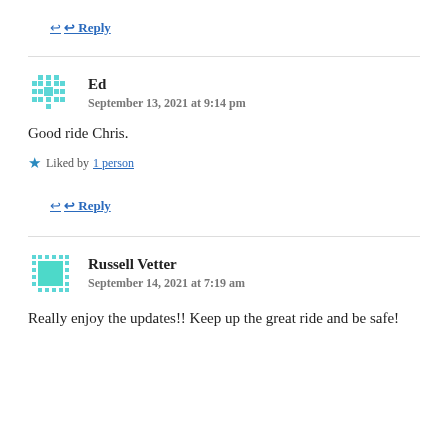↩ Reply
Ed
September 13, 2021 at 9:14 pm
Good ride Chris.
★ Liked by 1 person
↩ Reply
Russell Vetter
September 14, 2021 at 7:19 am
Really enjoy the updates!! Keep up the great ride and be safe!